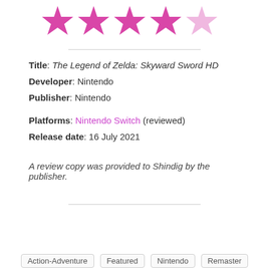[Figure (other): Five-star rating graphic: four full magenta/pink stars and one light pink (half/empty) star]
Title: The Legend of Zelda: Skyward Sword HD
Developer: Nintendo
Publisher: Nintendo
Platforms: Nintendo Switch (reviewed)
Release date: 16 July 2021
A review copy was provided to Shindig by the publisher.
Action-Adventure
Featured
Nintendo
Remaster